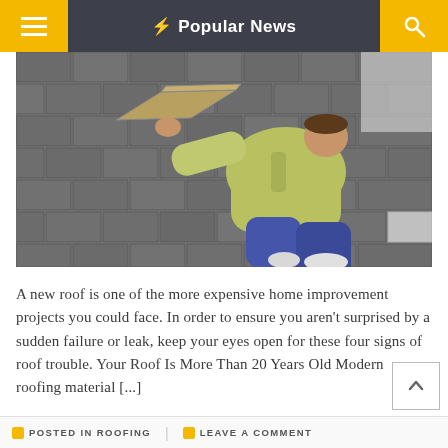⚡ Popular News
[Figure (photo): A person kneeling on a shingled roof, lifting a shingle with one hand, wearing a yellow jacket and blue jeans]
A new roof is one of the more expensive home improvement projects you could face. In order to ensure you aren't surprised by a sudden failure or leak, keep your eyes open for these four signs of roof trouble. Your Roof Is More Than 20 Years Old Modern roofing material [...]
POSTED IN ROOFING   LEAVE A COMMENT